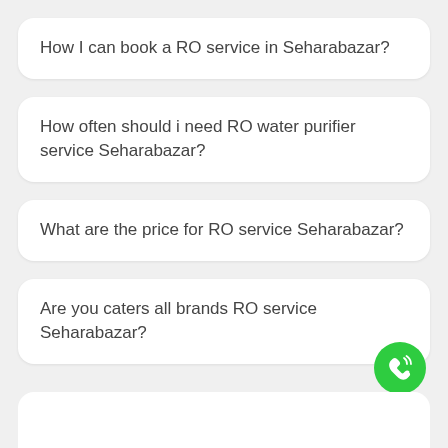How I can book a RO service in Seharabazar?
How often should i need RO water purifier service Seharabazar?
What are the price for RO service Seharabazar?
Are you caters all brands RO service Seharabazar?